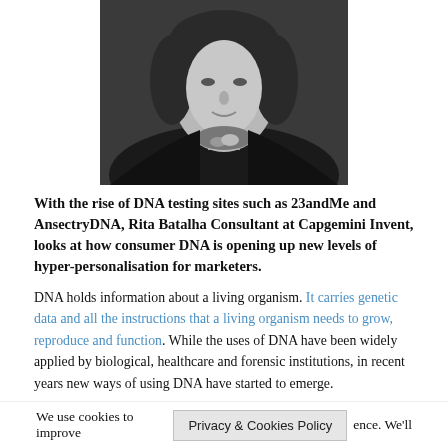[Figure (photo): Black and white portrait photo of Rita Batalha, a woman in a dark blazer with a chunky necklace]
With the rise of DNA testing sites such as 23andMe and AnsectryDNA, Rita Batalha Consultant at Capgemini Invent, looks at how consumer DNA is opening up new levels of hyper-personalisation for marketers.
DNA holds information about a living organism. It carries genetic data and all the instructions that a living organism needs to grow, reproduce and function. While the uses of DNA have been widely applied by biological, healthcare and forensic institutions, in recent years new ways of using DNA have started to emerge.
An example of this is using DNA as a potential storage medium. In an era of content explosion, where digital data continues to expand exponentially, Microsoft is investing in research to explore how DNA can be used to store data and content. The benefits are attractive; firstly,
We use cookies to improve [Privacy & Cookies Policy] ence. We'll